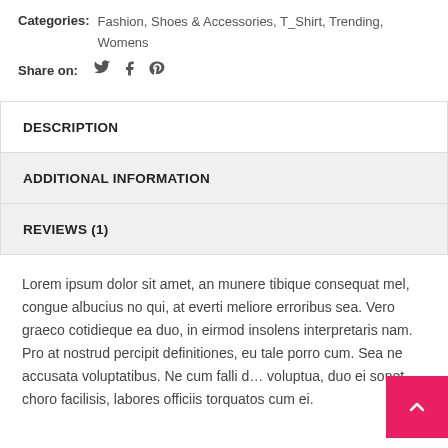Categories: Fashion, Shoes & Accessories, T_Shirt, Trending, Womens
Share on:
DESCRIPTION
ADDITIONAL INFORMATION
REVIEWS (1)
Lorem ipsum dolor sit amet, an munere tibique consequat mel, congue albucius no qui, at everti meliore erroribus sea. Vero graeco cotidieque ea duo, in eirmod insolens interpretaris nam. Pro at nostrud percipit definitiones, eu tale porro cum. Sea ne accusata voluptatibus. Ne cum falli d… voluptua, duo ei sonet choro facilisis, labores officiis torquatos cum ei.